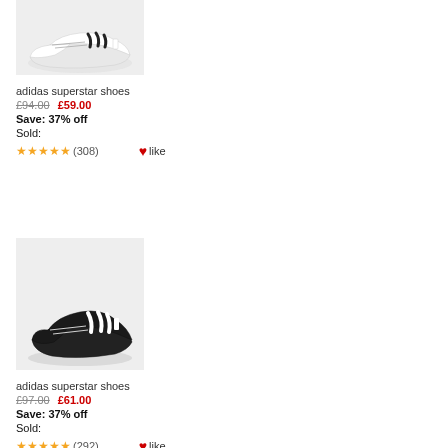[Figure (photo): White Adidas Superstar sneaker shoe with black stripes, top portion visible on light gray background]
adidas superstar shoes
£94.00  £59.00
Save: 37% off
Sold:
★★★★★(308) ♥like
[Figure (photo): Black Adidas Superstar sneaker shoe with white stripes on light gray background]
adidas superstar shoes
£97.00  £61.00
Save: 37% off
Sold:
★★★★★(292) ♥like